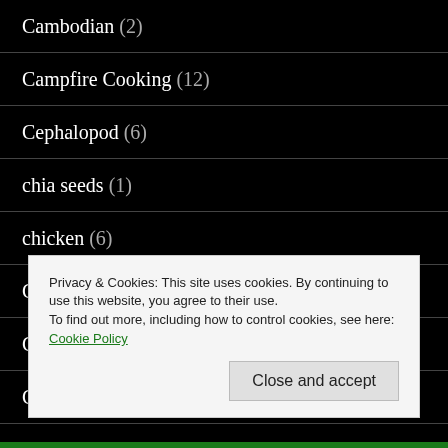Cambodian (2)
Campfire Cooking (12)
Cephalopod (6)
chia seeds (1)
chicken (6)
Cocktails (9)
Condiments (2)
Cooking Our Catch (32)
Cooking with Local Ingredients (17)
Privacy & Cookies: This site uses cookies. By continuing to use this website, you agree to their use.
To find out more, including how to control cookies, see here: Cookie Policy
Close and accept